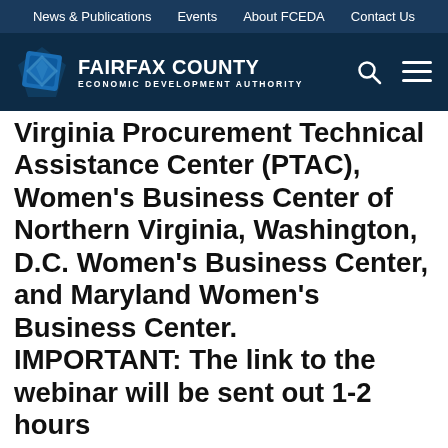News & Publications  Events  About FCEDA  Contact Us
[Figure (logo): Fairfax County Economic Development Authority logo with diamond shape icon and text]
Virginia Procurement Technical Assistance Center (PTAC), Women's Business Center of Northern Virginia, Washington, D.C. Women's Business Center, and Maryland Women's Business Center.
IMPORTANT: The link to the webinar will be sent out 1-2 hours